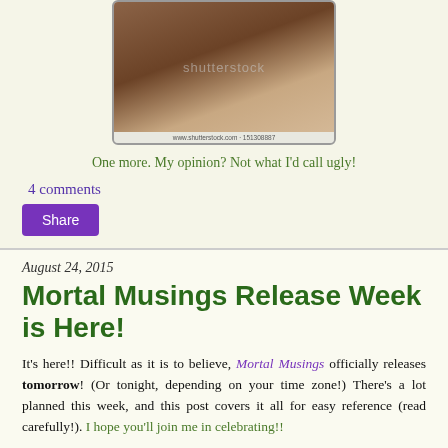[Figure (photo): Stock photo of a young man lying down, with shutterstock watermark and URL www.shutterstock.com - 151308887]
One more. My opinion? Not what I'd call ugly!
4 comments
Share
August 24, 2015
Mortal Musings Release Week is Here!
It's here!! Difficult as it is to believe, Mortal Musings officially releases tomorrow! (Or tonight, depending on your time zone!) There's a lot planned this week, and this post covers it all for easy reference (read carefully!). I hope you'll join me in celebrating!!
Kicking off today: the Blog Tour
Organized by IndieSage, there'll be excerpts, reviews,